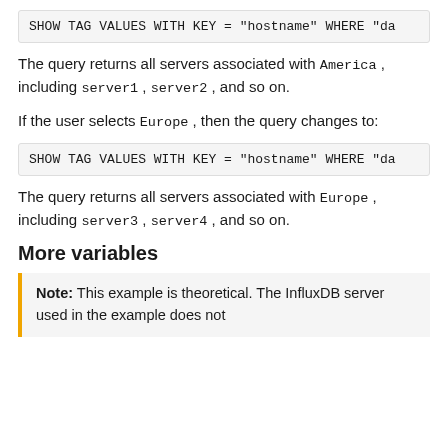SHOW TAG VALUES WITH KEY = "hostname" WHERE "da
The query returns all servers associated with America , including server1 , server2 , and so on.
If the user selects Europe , then the query changes to:
SHOW TAG VALUES WITH KEY = "hostname" WHERE "da
The query returns all servers associated with Europe , including server3 , server4 , and so on.
More variables
Note: This example is theoretical. The InfluxDB server used in the example does not